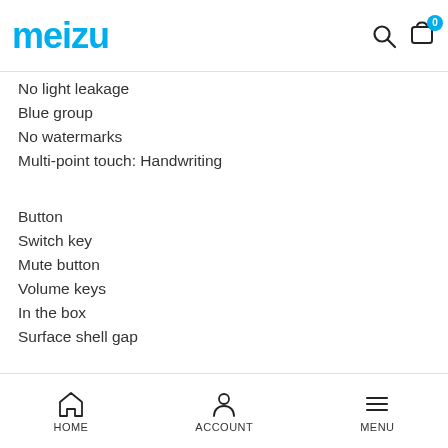MEIZU
No light leakage
Blue group
No watermarks
Multi-point touch: Handwriting
Button
Switch key
Mute button
Volume keys
In the box
Surface shell gap
Function
Light perception: PSensortest
Microphone: loopback test
Speaker: loopback test
Sim card
Handset: make call
HOME  ACCOUNT  MENU